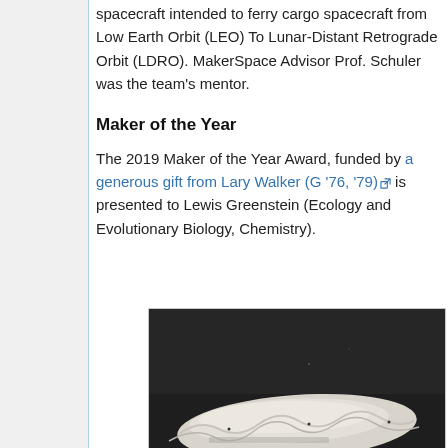spacecraft intended to ferry cargo spacecraft from Low Earth Orbit (LEO) To Lunar-Distant Retrograde Orbit (LDRO). MakerSpace Advisor Prof. Schuler was the team's mentor.
Maker of the Year
The 2019 Maker of the Year Award, funded by a generous gift from Lary Walker (G '76, '79) is presented to Lewis Greenstein (Ecology and Evolutionary Biology, Chemistry).
[Figure (photo): Photo of a white fabric or material object displayed against a dark background]